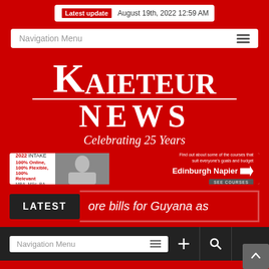Latest update  August 19th, 2022 12:59 AM
Navigation Menu
[Figure (logo): Kaieteur News logo with 'Celebrating 25 Years' subtitle on red background]
[Figure (screenshot): Edinburgh Napier University advertisement banner: APPLY NOW FOR SEPTEMBER 2022 INTAKE, 100% Online, 100% Flexible, 100% Relevant, MBA, MSc, BA, BSc with a wide variety of specialisms]
LATEST  ore bills for Guyana as
Navigation Menu
Navigation Menu + search icons and scroll-to-top button